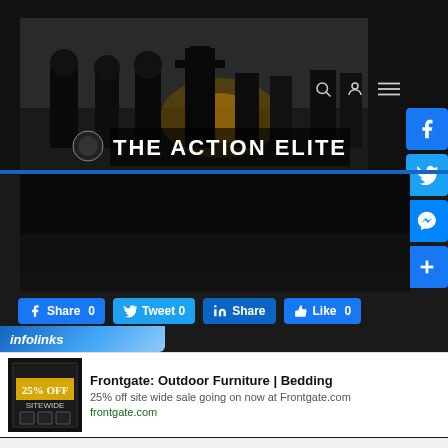[Figure (screenshot): The Action Elite website header banner showing action movie characters with text 'THE ACTION ELITE']
[Figure (screenshot): Dark video player area embedded in website]
[Figure (infographic): Social media share buttons row: Facebook Share 0, Tweet 0, LinkedIn Share, Like 0]
[Figure (infographic): Infolinks advertisement label bar]
[Figure (screenshot): Frontgate advertisement: Outdoor Furniture | Bedding, 25% off site wide sale going on now at Frontgate.com, frontgate.com]